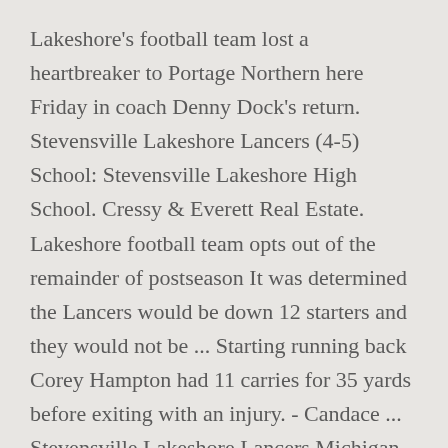Lakeshore's football team lost a heartbreaker to Portage Northern here Friday in coach Denny Dock's return. Stevensville Lakeshore Lancers (4-5) School: Stevensville Lakeshore High School. Cressy & Everett Real Estate. Lakeshore football team opts out of the remainder of postseason It was determined the Lancers would be down 12 starters and they would not be ... Starting running back Corey Hampton had 11 carries for 35 yards before exiting with an injury. - Candace ... Stevensville Lakeshore Lancers Michigan High School Football and Basketball Conference Records Get the latest Stevensville Lakeshore high school football news, rankings, schedules, stats, scores,